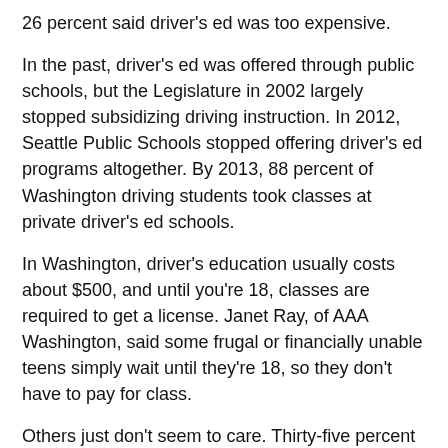26 percent said driver's ed was too expensive.
In the past, driver's ed was offered through public schools, but the Legislature in 2002 largely stopped subsidizing driving instruction. In 2012, Seattle Public Schools stopped offering driver's ed programs altogether. By 2013, 88 percent of Washington driving students took classes at private driver's ed schools.
In Washington, driver's education usually costs about $500, and until you're 18, classes are required to get a license. Janet Ray, of AAA Washington, said some frugal or financially unable teens simply wait until they're 18, so they don't have to pay for class.
Others just don't seem to care. Thirty-five percent of teens who responded to the AAA survey said they “just didn't get around to it.”
A license might be a ticket to freedom, but the cost is too steep for some and not worth it for others.
How teens get around